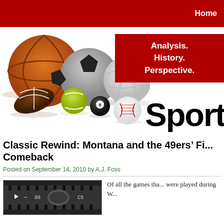Home
[Figure (illustration): Collection of sports balls (basketball, soccer ball, volleyball, football, tennis ball, billiard ball, baseball) arranged together with reflections on white background, alongside a red banner reading 'Analysis. History. Perspective.' and large bold text 'Sport']
Classic Rewind: Montana and the 49ers' Fi... Comeback
Posted on September 14, 2010 by A.J. Foss
[Figure (photo): Grayscale scoreboard image showing football field yardage markers]
Of all the games tha... were played during W...